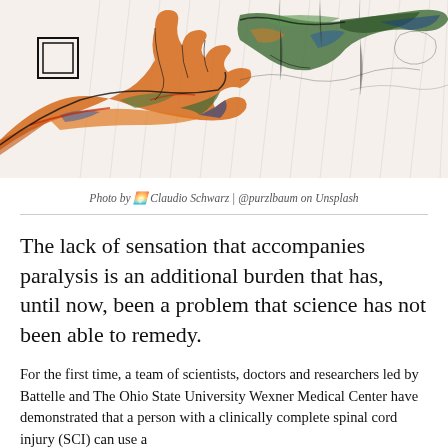[Figure (illustration): Artistic illustration of two hands reaching toward each other with colorful paint strokes (orange, green, blue, red) against a white background with sketch-like line work]
Photo by 🌅 Claudio Schwarz | @purzlbaum on Unsplash
The lack of sensation that accompanies paralysis is an additional burden that has, until now, been a problem that science has not been able to remedy.
For the first time, a team of scientists, doctors and researchers led by Battelle and The Ohio State University Wexner Medical Center have demonstrated that a person with a clinically complete spinal cord injury (SCI) can use a